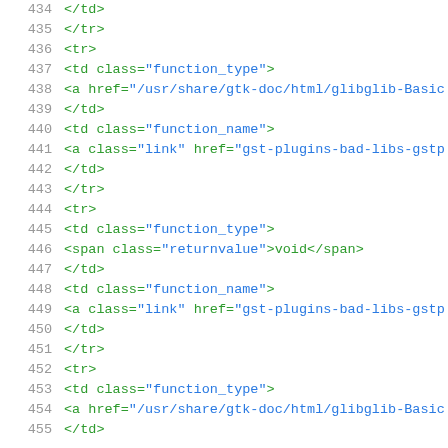434   </td>
435   </tr>
436   <tr>
437   <td class="function_type">
438   <a href="/usr/share/gtk-doc/html/glibglib-Basic
439   </td>
440   <td class="function_name">
441   <a class="link" href="gst-plugins-bad-libs-gstp
442   </td>
443   </tr>
444   <tr>
445   <td class="function_type">
446   <span class="returnvalue">void</span>
447   </td>
448   <td class="function_name">
449   <a class="link" href="gst-plugins-bad-libs-gstp
450   </td>
451   </tr>
452   <tr>
453   <td class="function_type">
454   <a href="/usr/share/gtk-doc/html/glibglib-Basic
455   </td>